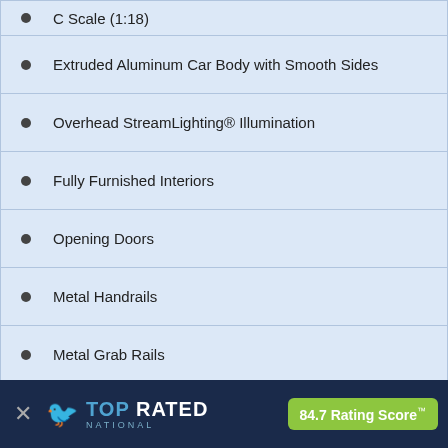C Scale (1:18)
Extruded Aluminum Car Body with Smooth Sides
Overhead StreamLighting® Illumination
Fully Furnished Interiors
Opening Doors
Metal Handrails
Metal Grab Rails
Die Cast 4-Wheel Trucks
Separate Meta...